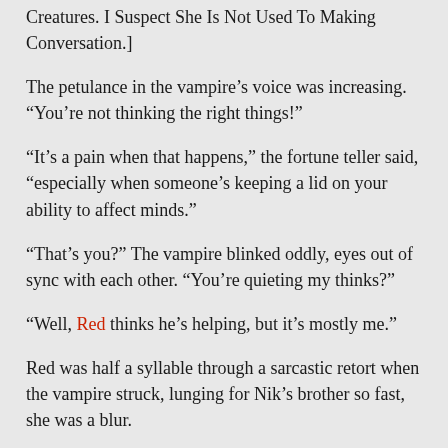Creatures. I Suspect She Is Not Used To Making Conversation.]
The petulance in the vampire’s voice was increasing. “You’re not thinking the right things!”
“It’s a pain when that happens,” the fortune teller said, “especially when someone’s keeping a lid on your ability to affect minds.”
“That’s you?” The vampire blinked oddly, eyes out of sync with each other. “You’re quieting my thinks?”
“Well, Red thinks he’s helping, but it’s mostly me.”
Red was half a syllable through a sarcastic retort when the vampire struck, lunging for Nik’s brother so fast, she was a blur.